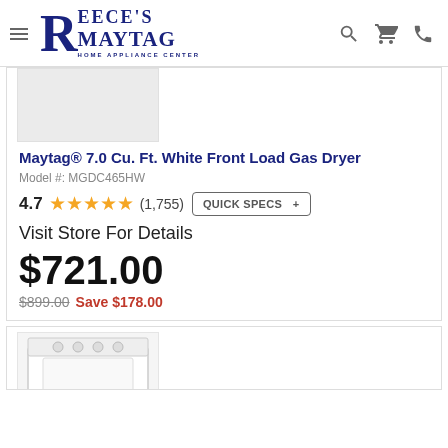[Figure (logo): Reece's Maytag Home Appliance Center logo with hamburger menu icon]
[Figure (photo): Partial image of white front load gas dryer (top portion cut off)]
Maytag® 7.0 Cu. Ft. White Front Load Gas Dryer
Model #: MGDC465HW
4.7 ★★★★★ (1,755) QUICK SPECS +
Visit Store For Details
$721.00
$899.00 Save $178.00
[Figure (photo): Partial image of white top load washing machine (second product listing)]